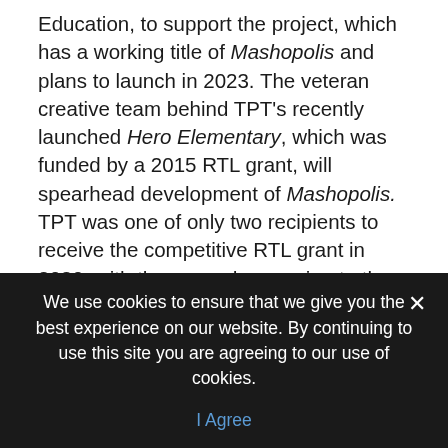Education, to support the project, which has a working title of Mashopolis and plans to launch in 2023. The veteran creative team behind TPT's recently launched Hero Elementary, which was funded by a 2015 RTL grant, will spearhead development of Mashopolis. TPT was one of only two recipients to receive the competitive RTL grant in 2020, with the second one going to the Corporation for Public Broadcasting.
"We are thrilled to have been awarded another Ready to Learn grant, giving us the opportunity to reach kids with developmentally appropriate content to inspire and prepare them for future workforce opportunities," states
We use cookies to ensure that we give you the best experience on our website. By continuing to use this site you are agreeing to our use of cookies.
I Agree